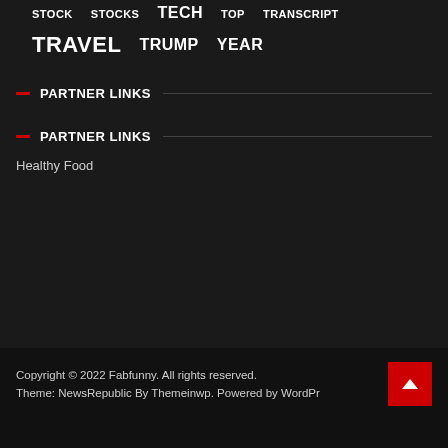STOCK
STOCKS
TECH
TOP
TRANSCRIPT
TRAVEL
TRUMP
YEAR
PARTNER LINKS
PARTNER LINKS
Healthy Food
Copyright © 2022 Fabfunny. All rights reserved.
Theme: NewsRepublic By Themeinwp. Powered by WordPr...